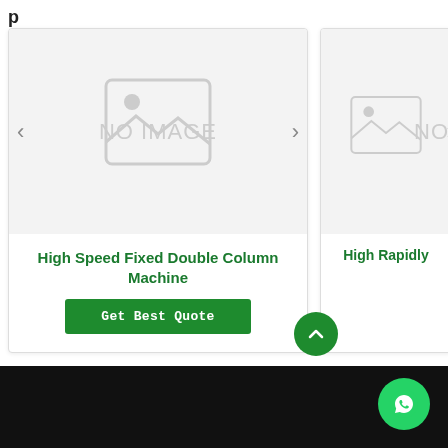[Figure (other): Product listing card for 'High Speed Fixed Double Column Machine' with no image placeholder, left/right navigation arrows, product title in green bold text, and a green 'Get Best Quote' button]
High Speed Fixed Double Column Machine
Get Best Quote
[Figure (other): Partial product listing card for 'High Rapidly' with no image placeholder and partial view of navigation arrow]
High Rapidly
[Figure (other): WhatsApp contact button (green circle with WhatsApp icon) in bottom-right corner]